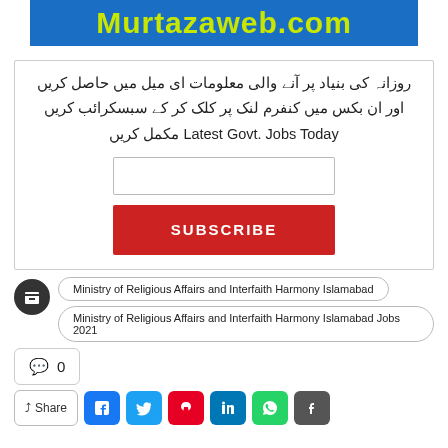[Figure (logo): Murtazaweb.com logo on blue background with yellow-green text]
روزانہ کی بنیاد پر آنے والی معلومات ای میل میں حاصل کریں اور ان بکس میں کنفرم لنک پر کلک کر کے سبسکرائب کریں Latest Govt. Jobs Today مکمل کریں
[Figure (screenshot): Email subscription form with text input and red SUBSCRIBE button]
Ministry of Religious Affairs and Interfaith Harmony Islamabad
Ministry of Religious Affairs and Interfaith Harmony Islamabad Jobs 2021
0
[Figure (infographic): Social share buttons row: Share, Facebook, Twitter, Pinterest, LinkedIn, WhatsApp, Telegram]